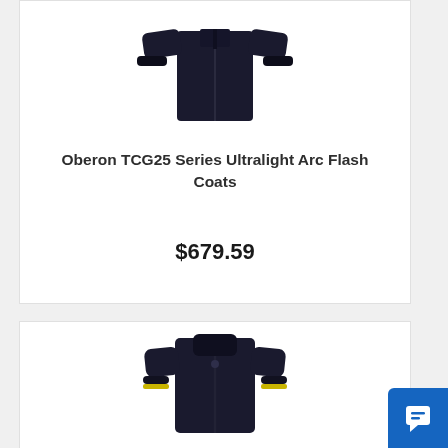[Figure (photo): Dark navy/black arc flash coat with ribbed cuffs, shown from front, upper body portion visible]
Oberon TCG25 Series Ultralight Arc Flash Coats
$679.59
[Figure (photo): Black arc flash coat with yellow/lime reflective trim at cuffs, shown from front, full upper body visible, standing collar]